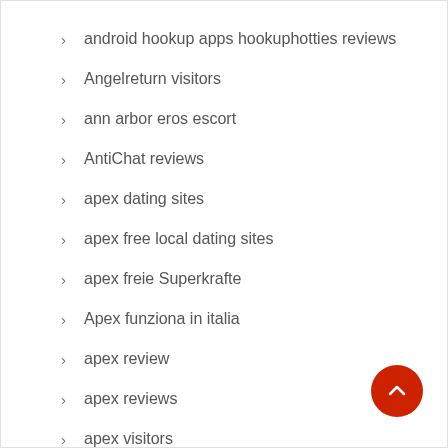android hookup apps hookuphotties reviews
Angelreturn visitors
ann arbor eros escort
AntiChat reviews
apex dating sites
apex free local dating sites
apex freie Superkrafte
Apex funziona in italia
apex review
apex reviews
apex visitors
app
app reviews
applications reddit
approved cash